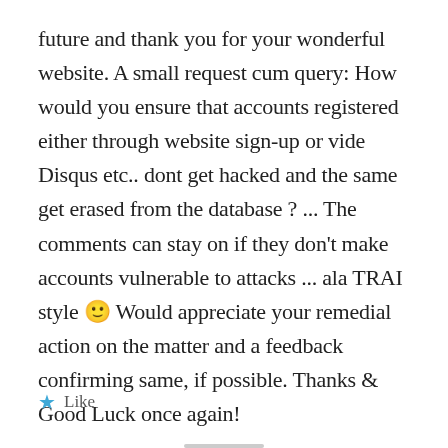future and thank you for your wonderful website. A small request cum query: How would you ensure that accounts registered either through website sign-up or vide Disqus etc.. dont get hacked and the same get erased from the database ? ... The comments can stay on if they don't make accounts vulnerable to attacks ... ala TRAI style 🙂 Would appreciate your remedial action on the matter and a feedback confirming same, if possible. Thanks & Good Luck once again!
★ Like